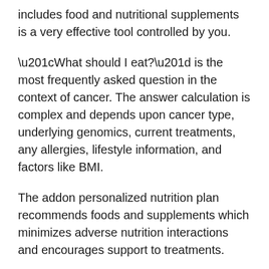includes food and nutritional supplements is a very effective tool controlled by you.
“What should I eat?” is the most frequently asked question in the context of cancer. The answer calculation is complex and depends upon cancer type, underlying genomics, current treatments, any allergies, lifestyle information, and factors like BMI.
The addon personalized nutrition plan recommends foods and supplements which minimizes adverse nutrition interactions and encourages support to treatments.
You can get started NOW and design a personalized nutrition plan for Ganglioglioma by answering questions on type of cancer, current treatments